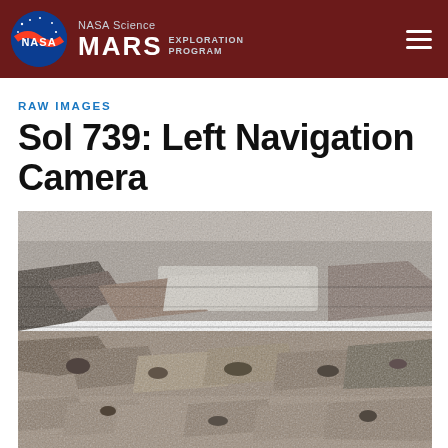NASA Science MARS EXPLORATION PROGRAM
RAW IMAGES
Sol 739: Left Navigation Camera
[Figure (photo): Black and white photograph of Mars surface terrain taken by the Left Navigation Camera on Sol 739, showing rocky ground with layered rock formations and scattered stones in greyscale.]